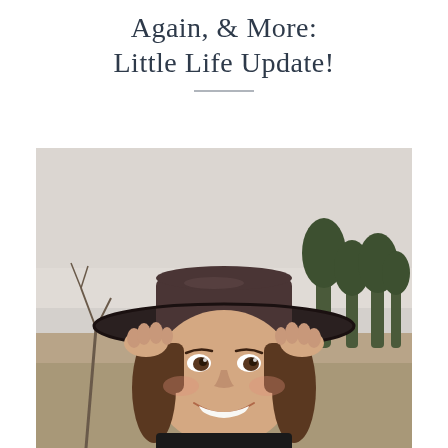Again, & More: Little Life Update!
[Figure (photo): A smiling young woman wearing a wide-brimmed felt hat, holding the brim with both hands, photographed outdoors in a field with bare trees and overcast sky in the background.]